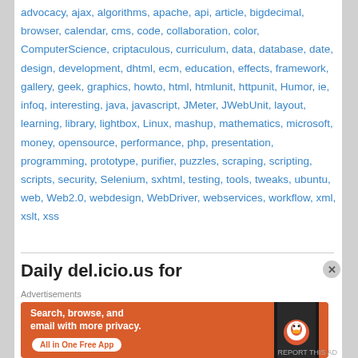advocacy, ajax, algorithms, apache, api, article, bigdecimal, browser, calendar, cms, code, collaboration, color, ComputerScience, criptaculous, curriculum, data, database, date, design, development, dhtml, ecm, education, effects, framework, gallery, geek, graphics, howto, html, htmlunit, httpunit, Humor, ie, infoq, interesting, java, javascript, JMeter, JWebUnit, layout, learning, library, lightbox, Linux, mashup, mathematics, microsoft, money, opensource, performance, php, presentation, programming, prototype, purifier, puzzles, scraping, scripting, scripts, security, Selenium, sxhtml, testing, tools, tweaks, ubuntu, web, Web2.0, webdesign, WebDriver, webservices, workflow, xml, xslt, xss
Daily del.icio.us for
Advertisements
[Figure (other): DuckDuckGo advertisement banner with orange background. Text reads: Search, browse, and email with more privacy. All in One Free App. Shows a DuckDuckGo logo and smartphone.]